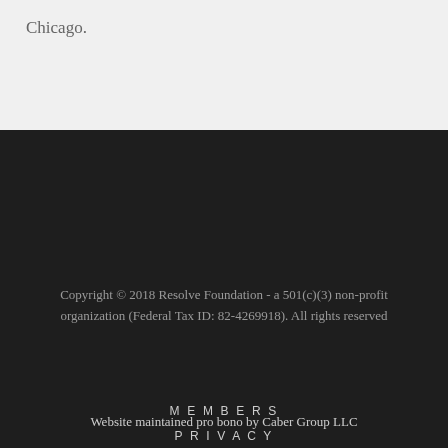Chicago.
Copyright © 2018 Resolve Foundation - a 501(c)(3) non-profit organization (Federal Tax ID: 82-4269918). All rights reserved
MEMBERS
PRIVACY
NON-DISCRIMINATION
RELEASE
Website maintained pro bono by Caber Group LLC